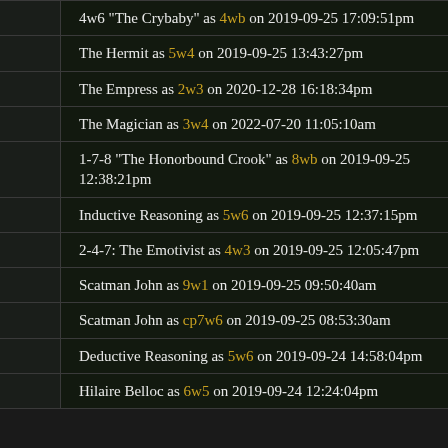| 4w6 "The Crybaby" as 4wb on 2019-09-25 17:09:51pm |
| The Hermit as 5w4 on 2019-09-25 13:43:27pm |
| The Empress as 2w3 on 2020-12-28 16:18:34pm |
| The Magician as 3w4 on 2022-07-20 11:05:10am |
| 1-7-8 "The Honorbound Crook" as 8wb on 2019-09-25 12:38:21pm |
| Inductive Reasoning as 5w6 on 2019-09-25 12:37:15pm |
| 2-4-7: The Emotivist as 4w3 on 2019-09-25 12:05:47pm |
| Scatman John as 9w1 on 2019-09-25 09:50:40am |
| Scatman John as cp7w6 on 2019-09-25 08:53:30am |
| Deductive Reasoning as 5w6 on 2019-09-24 14:58:04pm |
| Hilaire Belloc as 6w5 on 2019-09-24 12:24:04pm |